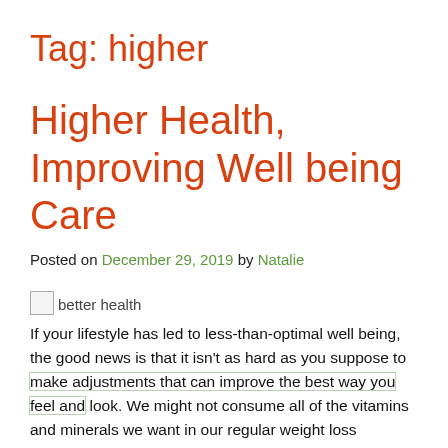Tag: higher
Higher Health, Improving Well being Care
Posted on December 29, 2019 by Natalie
[Figure (photo): Broken image placeholder with alt text 'better health']
If your lifestyle has led to less-than-optimal well being, the good news is that it isn't as hard as you suppose to make adjustments that can improve the best way you feel and look. We might not consume all of the vitamins and minerals we want in our regular weight loss program and